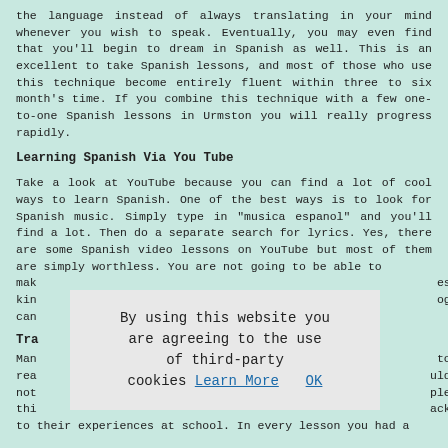the language instead of always translating in your mind whenever you wish to speak. Eventually, you may even find that you'll begin to dream in Spanish as well. This is an excellent to take Spanish lessons, and most of those who use this technique become entirely fluent within three to six month's time. If you combine this technique with a few one-to-one Spanish lessons in Urmston you will really progress rapidly.
Learning Spanish Via You Tube
Take a look at YouTube because you can find a lot of cool ways to learn Spanish. One of the best ways is to look for Spanish music. Simply type in "musica espanol" and you'll find a lot. Then do a separate search for lyrics. Yes, there are some Spanish video lessons on YouTube but most of them are simply worthless. You are not going to be able to mak                                                          ese kin                                                          ogs can
Tra
Man                                                          to rea                                                          uld not                                                          ple thi                                                          ack to their experiences at school. In every lesson you had a
By using this website you are agreeing to the use of third-party cookies Learn More   OK